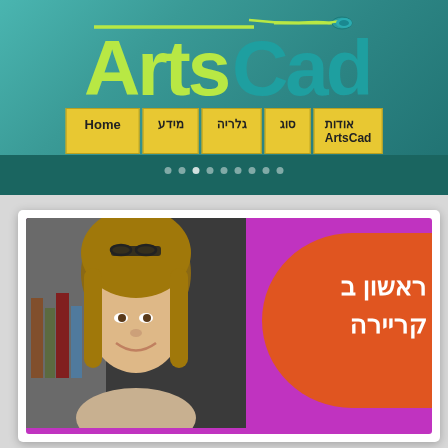[Figure (logo): ArtsCad logo with paintbrush icon. 'Arts' in yellow-green and 'Cad' in teal, on a teal background]
[Figure (screenshot): Navigation bar with yellow buttons: Home, and Hebrew text buttons, and ArtsCad button]
[Figure (photo): Woman with long brown hair and glasses on head, smiling, on a purple background with orange circle containing Hebrew text reading 'ראשון ב קריירה']